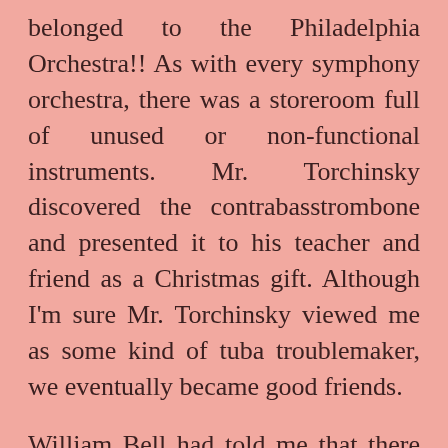belonged to the Philadelphia Orchestra!! As with every symphony orchestra, there was a storeroom full of unused or non-functional instruments. Mr. Torchinsky discovered the contrabasstrombone and presented it to his teacher and friend as a Christmas gift. Although I'm sure Mr. Torchinsky viewed me as some kind of tuba troublemaker, we eventually became good friends.
William Bell had told me that there was an American composer named Vittorio Giannini who always wrote for contrabasstrombone instead of tuba. When